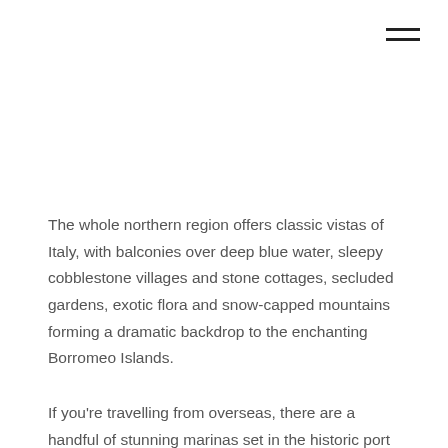[Figure (other): Hamburger menu icon (three horizontal lines) in top-right corner]
The whole northern region offers classic vistas of Italy, with balconies over deep blue water, sleepy cobblestone villages and stone cottages, secluded gardens, exotic flora and snow-capped mountains forming a dramatic backdrop to the enchanting Borromeo Islands.
If you're travelling from overseas, there are a handful of stunning marinas set in the historic port of Genoa, including Marina Porto Antico and Marina Genova, both perfect for superyachts. You can even visit the team at our Genoa Sea Service Centre to answer any